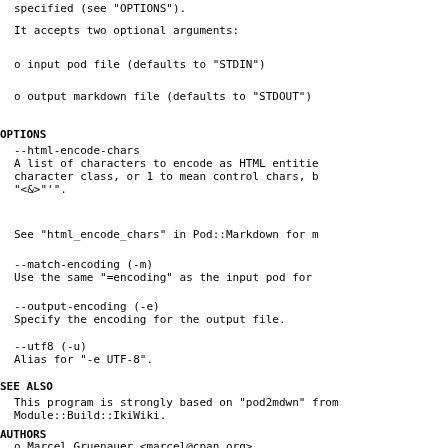specified (see "OPTIONS").
It accepts two optional arguments:
o   input pod file (defaults to "STDIN")
o   output markdown file (defaults to "STDOUT")
OPTIONS
--html-encode-chars
            A list of characters to encode as HTML entities
            character class, or 1 to mean control chars, b
            "<&>"'".
See "html_encode_chars" in Pod::Markdown for m
--match-encoding (-m)
            Use the same "=encoding" as the input pod for
--output-encoding (-e)
            Specify the encoding for the output file.
--utf8 (-u)
            Alias for "-e UTF-8".
SEE ALSO
This program is strongly based on "pod2mdwn" from
        Module::Build::IkiWiki.
AUTHORS
o   Marcel Gruenauer <marcel@cpan.org>